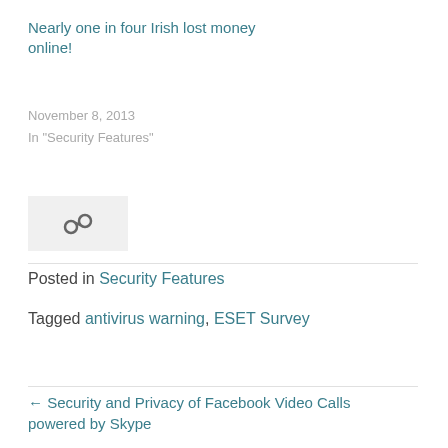Nearly one in four Irish lost money online!
November 8, 2013
In "Security Features"
[Figure (illustration): Link/chain icon in a light grey box]
Posted in Security Features
Tagged antivirus warning, ESET Survey
← Security and Privacy of Facebook Video Calls powered by Skype